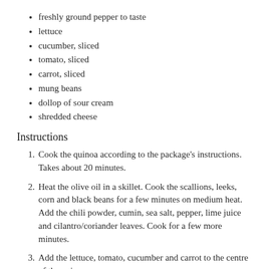freshly ground pepper to taste
lettuce
cucumber, sliced
tomato, sliced
carrot, sliced
mung beans
dollop of sour cream
shredded cheese
Instructions
Cook the quinoa according to the package's instructions. Takes about 20 minutes.
Heat the olive oil in a skillet. Cook the scallions, leeks, corn and black beans for a few minutes on medium heat. Add the chili powder, cumin, sea salt, pepper, lime juice and cilantro/coriander leaves. Cook for a few more minutes.
Add the lettuce, tomato, cucumber and carrot to the centre of the quinoa wrap.
Add in the cooked quinoa to the skillet and mix well.